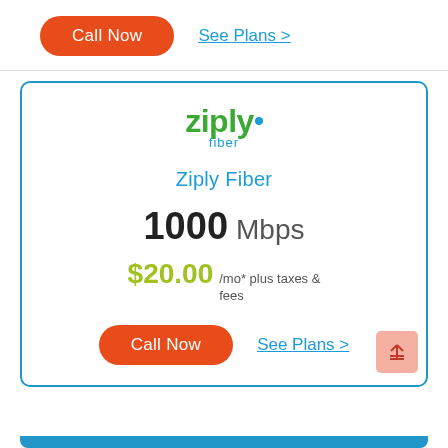[Figure (logo): Orange pill-shaped Call Now button and blue See Plans > link at top of page]
[Figure (logo): Ziply Fiber logo with green 'ziply' text and blue 'fiber' subtext]
Ziply Fiber
1000 Mbps
$20.00 /mo* plus taxes & fees
[Figure (other): Orange pill-shaped Call Now button and blue See Plans > link inside card]
[Figure (other): Scroll-to-top button (pink/salmon square with up-arrow lines) in bottom-right]